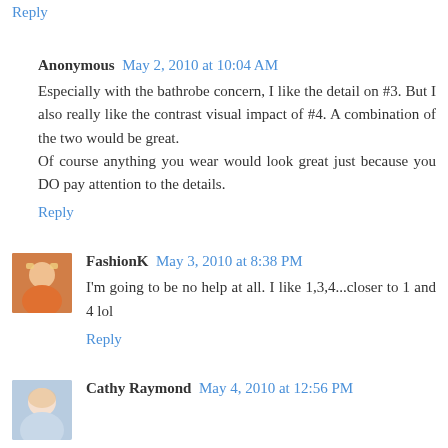Reply
Anonymous  May 2, 2010 at 10:04 AM
Especially with the bathrobe concern, I like the detail on #3. But I also really like the contrast visual impact of #4. A combination of the two would be great.
Of course anything you wear would look great just because you DO pay attention to the details.
Reply
FashionK  May 3, 2010 at 8:38 PM
I'm going to be no help at all. I like 1,3,4...closer to 1 and 4 lol
Reply
Cathy Raymond  May 4, 2010 at 12:56 PM